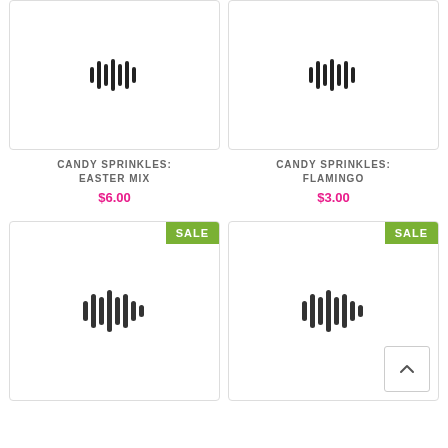[Figure (illustration): Product image placeholder with waveform icon for Candy Sprinkles Easter Mix]
[Figure (illustration): Product image placeholder with waveform icon for Candy Sprinkles Flamingo]
CANDY SPRINKLES: EASTER MIX
$6.00
CANDY SPRINKLES: FLAMINGO
$3.00
[Figure (illustration): Product image placeholder with SALE badge and waveform icon]
[Figure (illustration): Product image placeholder with SALE badge and waveform icon, scroll-to-top button]